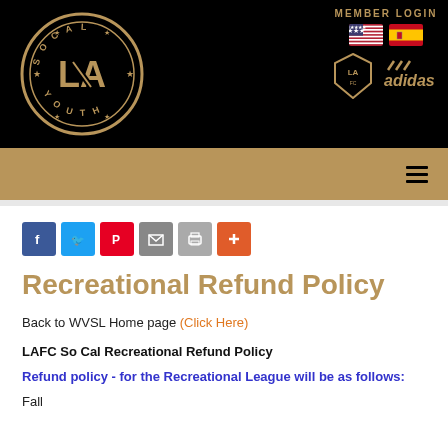[Figure (logo): SoCal Youth LA circular logo in gold on black background, with LA initials in center]
MEMBER LOGIN
[Figure (illustration): US flag and Spanish flag emoji icons]
[Figure (logo): LAFC shield logo and Adidas logo in gold on black]
[Figure (illustration): Hamburger menu icon (three horizontal lines) on gold navigation bar]
[Figure (illustration): Social share buttons: Facebook, Twitter, Pinterest, Email, Print, Plus]
Recreational Refund Policy
Back to WVSL Home page (Click Here)
LAFC So Cal Recreational Refund Policy
Refund policy - for the Recreational League will be as follows:
Fall